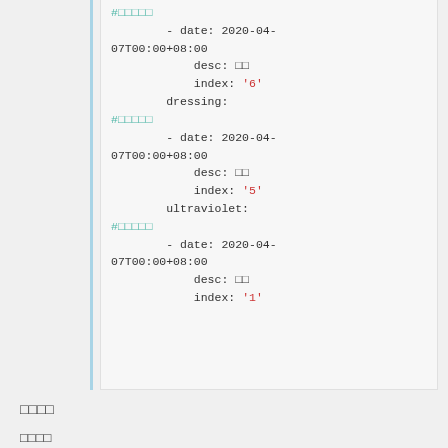#□□□□□
        - date: 2020-04-07T00:00+08:00
            desc: □□
            index: '6'
        dressing:
#□□□□□
        - date: 2020-04-07T00:00+08:00
            desc: □□
            index: '5'
        ultraviolet:
#□□□□□
        - date: 2020-04-07T00:00+08:00
            desc: □□
            index: '1'
□□□□
□□□□
□□□□□□□□□□□□□□□□□□□